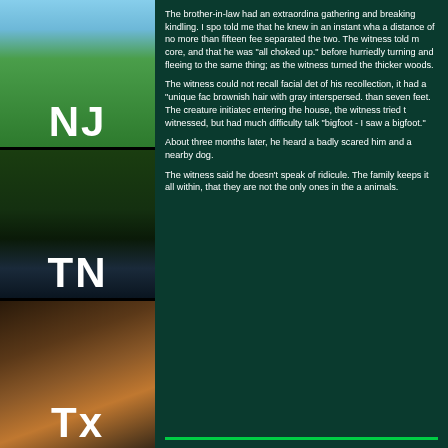[Figure (photo): Three stacked state photo panels on the left: NJ (forest/sky), TN (water/trees), TX (swamp/orange tones), each with white state abbreviation label overlaid]
The brother-in-law had an extraordina gathering and breaking kindling. I spo told me that he knew in an instant wha a distance of no more than fifteen fee separated the two. The witness told m core, and that he was "all choked up." before hurriedly turning and fleeing to the same thing; as the witness turned the thicker woods.
The witness could not recall facial det of his recollection, it had a "unique fac brownish hair with gray interspersed. than seven feet. The creature initiatec entering the house, the witness tried t witnessed, but had much difficulty talk "bigfoot - I saw a bigfoot."
About three months later, he heard a badly scared him and a nearby dog.
The witness said he doesn't speak of ridicule. The family keeps it all within, that they are not the only ones in the a animals.